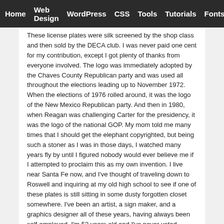Home  Web Design  WordPress  CSS  Tools  Tutorials  Fonts
These license plates were silk screened by the shop class and then sold by the DECA club. I was never paid one cent for my contribution, except I got plenty of thanks from everyone involved. The logo was immediately adopted by the Chaves County Republican party and was used all throughout the elections leading up to November 1972. When the elections of 1976 rolled around, it was the logo of the New Mexico Republican party. And then in 1980, when Reagan was challenging Carter for the presidency, it was the logo of the national GOP. My mom told me many times that I should get the elephant copyrighted, but being such a stoner as I was in those days, I watched many years fly by until I figured nobody would ever believe me if I attempted to proclaim this as my own invention. I live near Santa Fe now, and I've thought of traveling down to Roswell and inquiring at my old high school to see if one of these plates is still sitting in some dusty forgotten closet somewhere. I've been an artist, a sign maker, and a graphics designer all of these years, having always been self-employed. I'm 53 years old and I've never voted Republican.
Reply
Edi  February 28, 2009